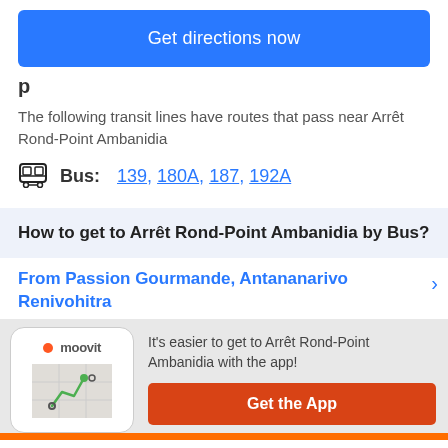Get directions now
p
The following transit lines have routes that pass near Arrêt Rond-Point Ambanidia
Bus: 139, 180A, 187, 192A
How to get to Arrêt Rond-Point Ambanidia by Bus?
From Passion Gourmande, Antananarivo Renivohitra
It's easier to get to Arrêt Rond-Point Ambanidia with the app!
Get the App